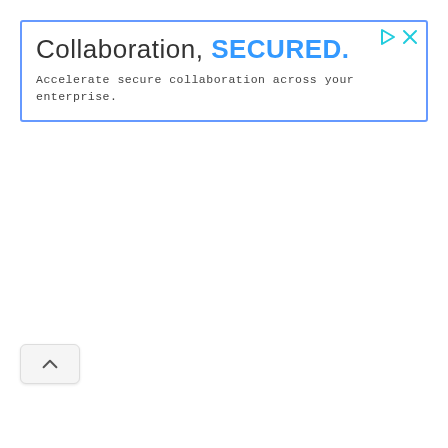[Figure (screenshot): Advertisement banner with blue border. Title reads 'Collaboration, SECURED.' with 'SECURED.' in bold blue. Subtitle reads 'Accelerate secure collaboration across your enterprise.' Two small icons (play and close) in the top-right corner.]
[Figure (other): A small rounded button/tab with a chevron/caret pointing upward (collapse button), positioned below the ad banner on the left side.]